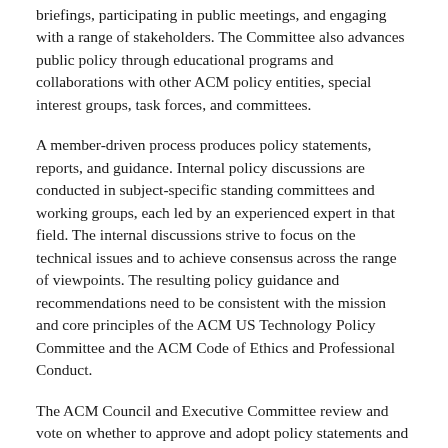briefings, participating in public meetings, and engaging with a range of stakeholders. The Committee also advances public policy through educational programs and collaborations with other ACM policy entities, special interest groups, task forces, and committees.
A member-driven process produces policy statements, reports, and guidance. Internal policy discussions are conducted in subject-specific standing committees and working groups, each led by an experienced expert in that field. The internal discussions strive to focus on the technical issues and to achieve consensus across the range of viewpoints. The resulting policy guidance and recommendations need to be consistent with the mission and core principles of the ACM US Technology Policy Committee and the ACM Code of Ethics and Professional Conduct.
The ACM Council and Executive Committee review and vote on whether to approve and adopt policy statements and reports in accordance with the ACM US Technology Policy Committee operating procedures ↗.
Leadership and Committees
The ACM US Technology Policy Committee is composed of an Executive Committee responsible for strategic directions, as well as members who participate in committees and working groups. Its Chair is